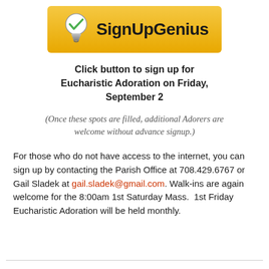[Figure (logo): SignUpGenius logo: light bulb icon with a green checkmark on a gold/yellow gradient banner, with bold text 'SignUpGenius']
Click button to sign up for Eucharistic Adoration on Friday, September 2
(Once these spots are filled, additional Adorers are welcome without advance signup.)
For those who do not have access to the internet, you can sign up by contacting the Parish Office at 708.429.6767 or Gail Sladek at gail.sladek@gmail.com. Walk-ins are again welcome for the 8:00am 1st Saturday Mass.  1st Friday Eucharistic Adoration will be held monthly.